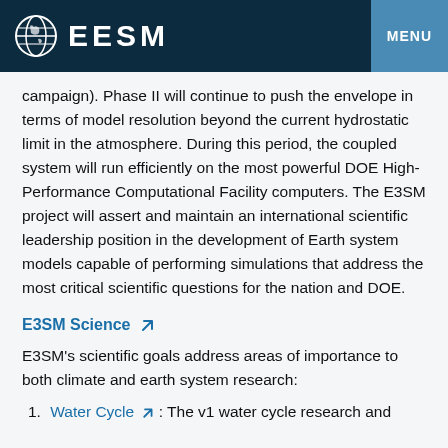EESM  MENU
campaign). Phase II will continue to push the envelope in terms of model resolution beyond the current hydrostatic limit in the atmosphere. During this period, the coupled system will run efficiently on the most powerful DOE High-Performance Computational Facility computers. The E3SM project will assert and maintain an international scientific leadership position in the development of Earth system models capable of performing simulations that address the most critical scientific questions for the nation and DOE.
E3SM Science
E3SM's scientific goals address areas of importance to both climate and earth system research:
Water Cycle: The v1 water cycle research and